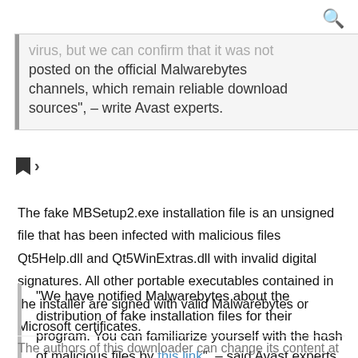virus, but we can confirm that it was not posted on the official Malwarebytes channels, which remain reliable download sources", – write Avast experts.
The fake MBSetup2.exe installation file is an unsigned file that has been infected with malicious files Qt5Help.dll and Qt5WinExtras.dll with invalid digital signatures. All other portable executables contained in the installer are signed with valid Malwarebytes or Microsoft certificates.
"We have notified Malwarebytes about the distribution of fake installation files for their program. You can familiarize yourself with the hash of malicious files by this link", – said Avast experts.
The authors of this downloader can change its content at